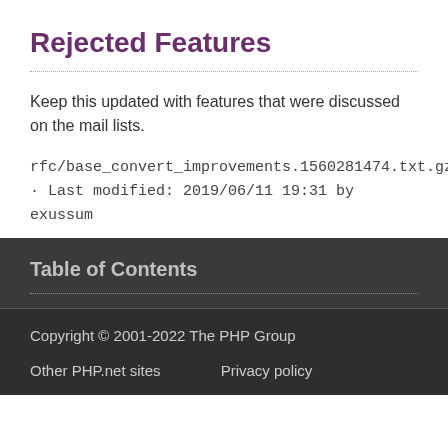Rejected Features
Keep this updated with features that were discussed on the mail lists.
rfc/base_convert_improvements.1560281474.txt.gz · Last modified: 2019/06/11 19:31 by exussum
Table of Contents
Copyright © 2001-2022 The PHP Group
Other PHP.net sites    Privacy policy